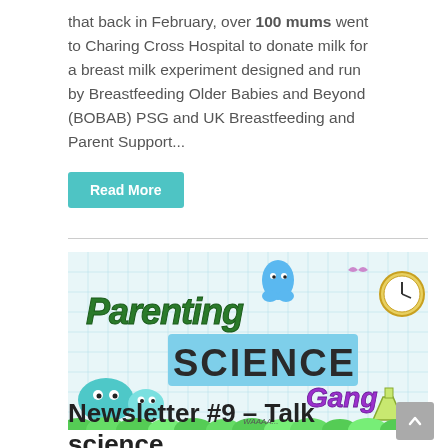that back in February, over 100 mums went to Charing Cross Hospital to donate milk for a breast milk experiment designed and run by Breastfeeding Older Babies and Beyond (BOBAB) PSG and UK Breastfeeding and Parent Support...
Read More
[Figure (illustration): Parenting Science Gang banner image with colorful cartoon characters, ghosts, and lab equipment on a grid paper background. The text reads 'Parenting SCIENCE Gang' in stylized lettering.]
Newsletter #9 – Talk science